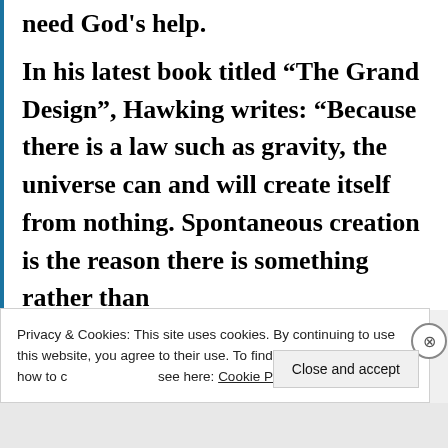need God’s help.
In his latest book titled “The Grand Design”, Hawking writes: “Because there is a law such as gravity, the universe can and will create itself from nothing. Spontaneous creation is the reason there is something rather than
Privacy & Cookies: This site uses cookies. By continuing to use this website, you agree to their use. To find out more, including how to control cookies, see here: Cookie Policy